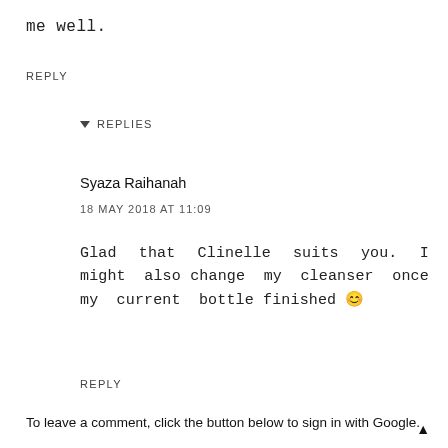me well.
REPLY
▼ REPLIES
Syaza Raihanah
18 MAY 2018 AT 11:09
Glad that Clinelle suits you. I might also change my cleanser once my current bottle finished 🙂
REPLY
To leave a comment, click the button below to sign in with Google.
SIGN IN WITH GOOGLE